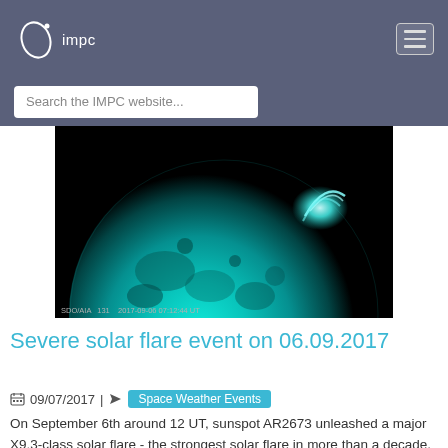impc
[Figure (photo): Solar image from SDO/AIA 131 showing the Sun in cyan/teal false color, with a bright solar flare visible on the right side. Timestamp: 2017-09-06 07:12:44 UT]
SDO/AIA   131    2017-09-06 07:12:44 UT
Severe solar flare event on 06.09.2017
09/07/2017 | Space Weather Events
On September 6th around 12 UT, sunspot AR2673 unleashed a major X9.3-class solar flare - the strongest solar flare in more than a decade, cf. image below. Although this flare was very